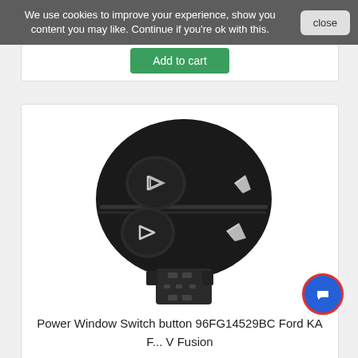We use cookies to improve your experience, show you content you may like. Continue if you're ok with this.
close
Add to cart
[Figure (photo): Black plastic power window switch button (part number 96FG14529BC) for Ford KA / Puma / Fusion. Round disc-shaped top with two rocker buttons and two arrow icons, with a rectangular connector housing below.]
Power Window Switch button 96FG14529BC Ford KA F... V Fusion